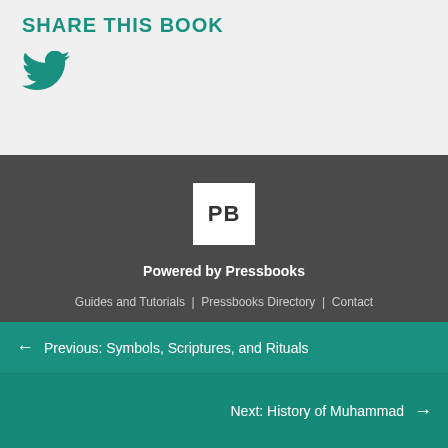SHARE THIS BOOK
[Figure (logo): Twitter bird icon in teal/green color]
[Figure (logo): Pressbooks logo: white square with 'PB' text]
Powered by Pressbooks
Guides and Tutorials | Pressbooks Directory | Contact
Previous: Symbols, Scriptures, and Rituals
Next: History of Muhammad